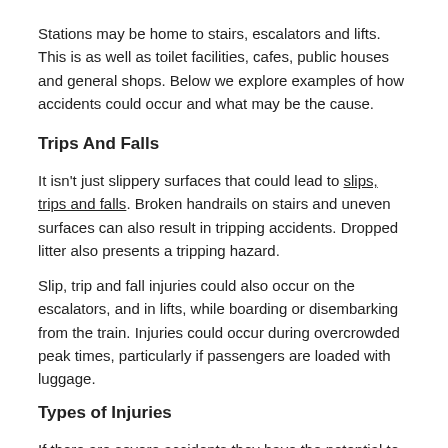Stations may be home to stairs, escalators and lifts. This is as well as toilet facilities, cafes, public houses and general shops. Below we explore examples of how accidents could occur and what may be the cause.
Trips And Falls
It isn't just slippery surfaces that could lead to slips, trips and falls. Broken handrails on stairs and uneven surfaces can also result in tripping accidents. Dropped litter also presents a tripping hazard.
Slip, trip and fall injuries could also occur on the escalators, and in lifts, while boarding or disembarking from the train. Injuries could occur during overcrowded peak times, particularly if passengers are loaded with luggage.
Types of Injuries
If there are severe accidents they have the potential to cause multiple fractures and injuries as well as loss of limbs. That said the majority